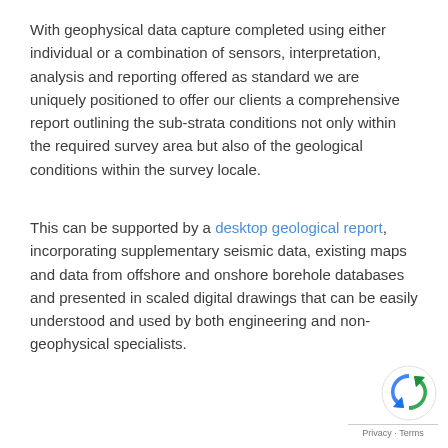With geophysical data capture completed using either individual or a combination of sensors, interpretation, analysis and reporting offered as standard we are uniquely positioned to offer our clients a comprehensive report outlining the sub-strata conditions not only within the required survey area but also of the geological conditions within the survey locale.
This can be supported by a desktop geological report, incorporating supplementary seismic data, existing maps and data from offshore and onshore borehole databases and presented in scaled digital drawings that can be easily understood and used by both engineering and non-geophysical specialists.
[Figure (logo): Google reCAPTCHA icon with Privacy and Terms links at bottom right of page]